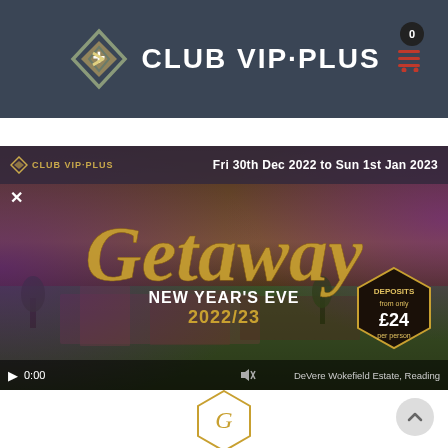[Figure (logo): Club VIP Plus logo with diamond/arrow icon on dark navy header bar, with shopping cart icon (badge showing 0) at top right]
[Figure (screenshot): Video thumbnail for Club VIP Plus New Year's Eve Getaway 2022/23 at DeVere Wokefield Estate, Reading. Top bar shows date 'Fri 30th Dec 2022 to Sun 1st Jan 2023'. Cursive gold 'Getaway' text overlaid on estate aerial photo with purple accents. 'NEW YEAR'S EVE 2022/23' subtitle in gold. Deposit badge showing 'DEPOSITS from only £24'. Video controls at bottom showing play button and 0:00 timestamp.]
[Figure (illustration): Partial gold hexagon shape visible at bottom of page, part of Club VIP Plus branding element]